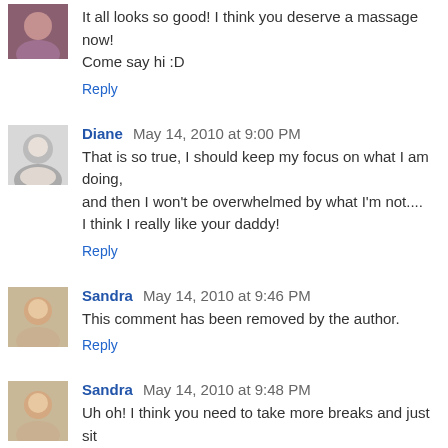It all looks so good! I think you deserve a massage now! Come say hi :D
Reply
Diane May 14, 2010 at 9:00 PM
That is so true, I should keep my focus on what I am doing, and then I won't be overwhelmed by what I'm not.... I think I really like your daddy!
Reply
Sandra May 14, 2010 at 9:46 PM
This comment has been removed by the author.
Reply
Sandra May 14, 2010 at 9:48 PM
Uh oh! I think you need to take more breaks and just sit down for a few minutes at a time and rest. Something